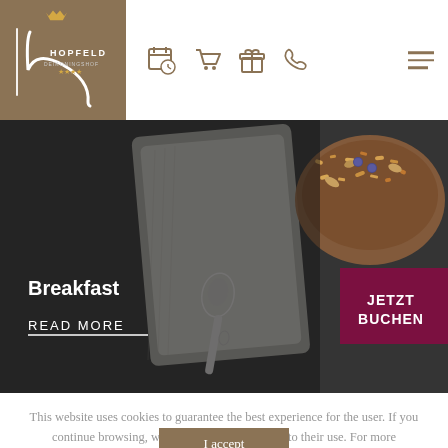[Figure (logo): Hopfeld Deikoningshof hotel logo with gold crown, stylized H letterform, and HOPFELD text on brown/tan background]
[Figure (screenshot): Navigation bar with calendar/clock icon, shopping cart icon, gift box icon, phone icon in brown/tan color, and hamburger menu on right]
[Figure (photo): Hero image showing breakfast bowl with granola, nuts and blueberries on dark slate background with silver spoon and grey linen napkin. Text overlay shows 'Breakfast' in white bold and 'READ MORE' with underline. Dark burgundy/maroon button on right says 'JETZT BUCHEN']
This website uses cookies to guarantee the best experience for the user. If you continue browsing, we consider that you agree to their use. For more information, or to find out how to change your settings, see our cookie policy.
I accept